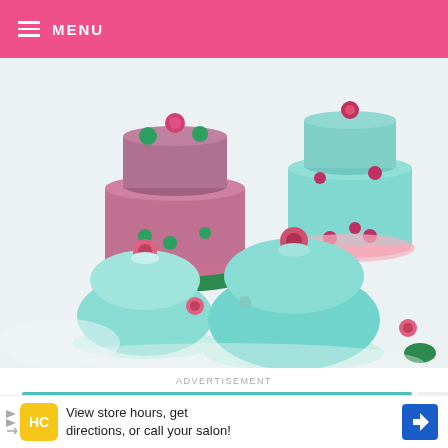MENU
[Figure (photo): Colorful ice cakes/cupcakes made with teal/mint colored ice and pink rose decorations, arranged in snow. Multiple sizes of domed ice cakes with floral toppings visible.]
ADVERTISEMENT
[Figure (other): SHE Media Partner Network advertisement banner with teal background, SHE logo, and 'BECOME A MEMBER' call to action button]
[Figure (other): HC advertisement: 'View store hours, get directions, or call your salon!' with yellow HC logo and blue navigation arrow icon]